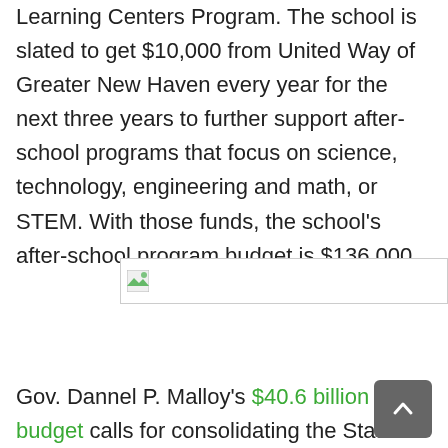Learning Centers Program. The school is slated to get $10,000 from United Way of Greater New Haven every year for the next three years to further support after-school programs that focus on science, technology, engineering and math, or STEM. With those funds, the school's after-school program budget is $136,000.
[Figure (photo): Broken image placeholder with icon, shown as a bordered box with a small image icon in the top-left corner.]
Gov. Dannel P. Malloy's $40.6 billion budget calls for consolidating the State